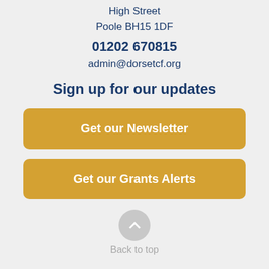High Street
Poole BH15 1DF
01202 670815
admin@dorsetcf.org
Sign up for our updates
Get our Newsletter
Get our Grants Alerts
Back to top